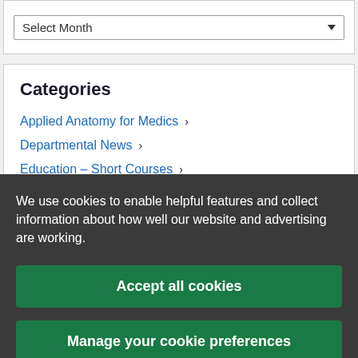Select Month
Categories
Applied Anatomy for Medics >
Departmental News >
Education – Short Courses >
We use cookies to enable helpful features and collect information about how well our website and advertising are working.
Accept all cookies
Manage your cookie preferences